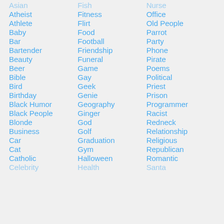Asian (partial)
Atheist
Athlete
Baby
Bar
Bartender
Beauty
Beer
Bible
Bird
Birthday
Black Humor
Black People
Blonde
Business
Car
Cat
Catholic
Celebrity (partial)
Fish (partial)
Fitness
Flirt
Food
Football
Friendship
Funeral
Game
Gay
Geek
Genie
Geography
Ginger
God
Golf
Graduation
Gym
Halloween
Health (partial)
Nurse (partial)
Office
Old People
Parrot
Party
Phone
Pirate
Poems
Political
Priest
Prison
Programmer
Racist
Redneck
Relationship
Religious
Republican
Romantic
Santa (partial)